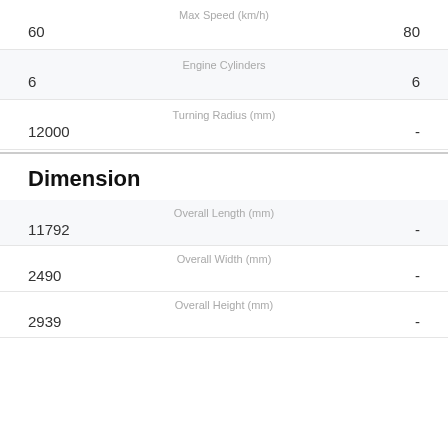| Max Speed (km/h) |
| --- |
| 60 | 80 |
| Engine Cylinders |
| --- |
| 6 | 6 |
| Turning Radius (mm) |
| --- |
| 12000 | - |
Dimension
| Overall Length (mm) |
| --- |
| 11792 | - |
| Overall Width (mm) |
| --- |
| 2490 | - |
| Overall Height (mm) |
| --- |
| 2939 | - |